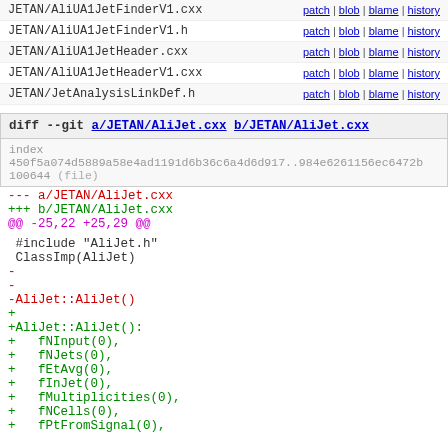JETAN/AliUA1JetFinderV1.cxx  patch | blob | blame | history
JETAN/AliUA1JetFinderV1.h  patch | blob | blame | history
JETAN/AliUA1JetHeader.cxx  patch | blob | blame | history
JETAN/AliUA1JetHeaderV1.cxx  patch | blob | blame | history
JETAN/JetAnalysisLinkDef.h  patch | blob | blame | history
diff --git a/JETAN/AliJet.cxx b/JETAN/AliJet.cxx
index 450f5a074d5889a58e4ad1191d6b36c6a4d6d917..984e6261156ec6472b 100644 (file)
--- a/JETAN/AliJet.cxx
+++ b/JETAN/AliJet.cxx
@@ -25,22 +25,29 @@
#include "AliJet.h"
 ClassImp(AliJet)
-
-
-AliJet::AliJet()
+
+AliJet::AliJet():
+   fNInput(0),
+   fNJets(0),
+   fEtAvg(0),
+   fInJet(0),
+   fMultiplicities(0),
+   fNCells(0),
+   fPtFromSignal(0),